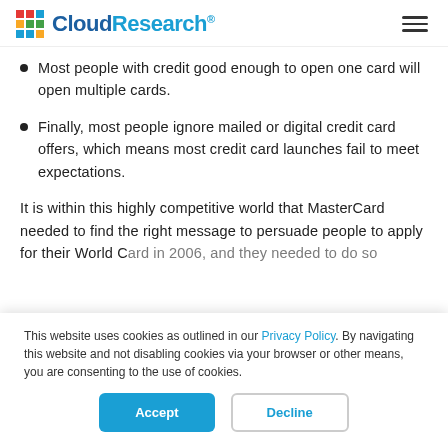CloudResearch
Most people with credit good enough to open one card will open multiple cards.
Finally, most people ignore mailed or digital credit card offers, which means most credit card launches fail to meet expectations.
It is within this highly competitive world that MasterCard needed to find the right message to persuade people to apply for their World Card in 2006, and they needed to do so
This website uses cookies as outlined in our Privacy Policy. By navigating this website and not disabling cookies via your browser or other means, you are consenting to the use of cookies.